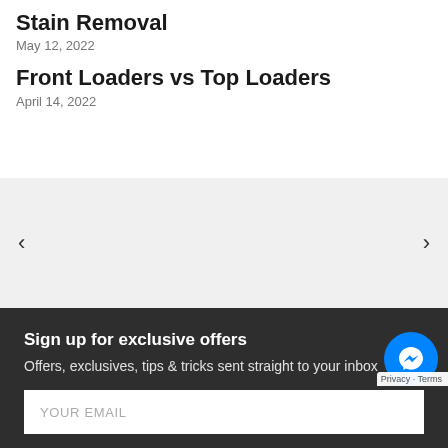Stain Removal
May 12, 2022
Front Loaders vs Top Loaders
April 14, 2022
[Figure (other): Carousel navigation section with left and right arrow buttons on a light grey background]
Sign up for exclusive offers
Offers, exclusives, tips & tricks sent straight to your inbox
YOUR EMAIL